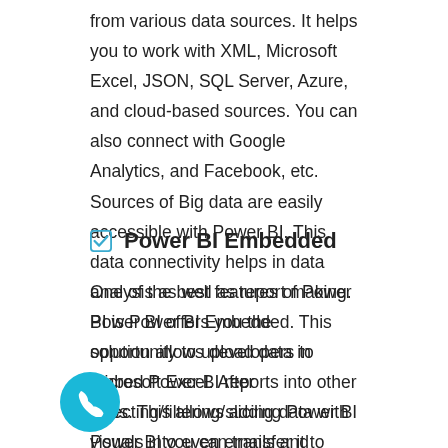from various data sources. It helps you to work with XML, Microsoft Excel, JSON, SQL Server, Azure, and cloud-based sources. You can also connect with Google Analytics, and Facebook, etc. Sources of Big data are easily accessible with Power BI. This data connectivity helps in data analysis as well as report making. Power BI offers you the opportunity to upload data in Microsoft Excel. After selecting/filtering/slicing data with Power BI you can transfer it to Excel. This allows you to view data in tabular form.
Power BI Embedded
One of the best features of Power BI is Power BI Embedded. This solution allows developers to embed Power BI reports into other apps. This allows adding Power BI visuals into even emails and websites which also increases the reach to users.